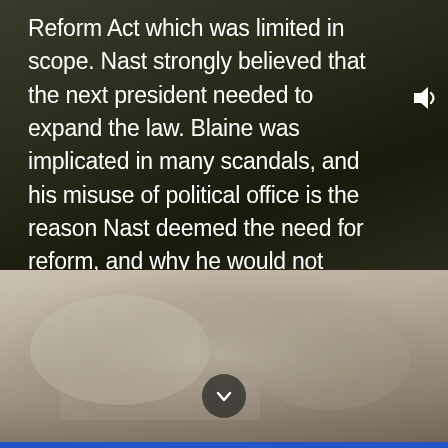Reform Act which was limited in scope. Nast strongly believed that the next president needed to expand the law. Blaine was implicated in many scandals, and his misuse of political office is the reason Nast deemed the need for reform, and why he would not support the candidate for president.
[Figure (photo): Blurred/faded image in the lower half of the page with muted tan and brown tones, partially obscured. A circular dark button with a downward chevron arrow is centered near the bottom of this region.]